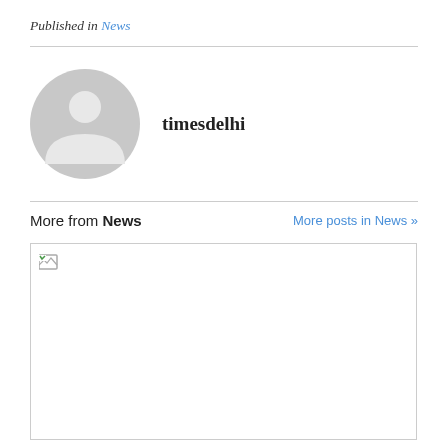Published in News
timesdelhi
[Figure (photo): Generic user avatar: grey circle with silhouette of a person]
More from News
More posts in News »
[Figure (photo): Broken/unloaded image placeholder with small broken image icon in top-left corner]